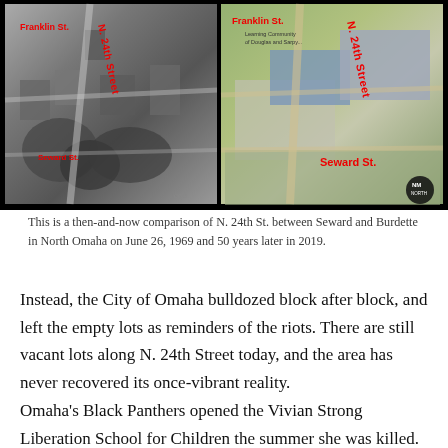[Figure (photo): Then-and-now side-by-side aerial comparison photo of N. 24th Street between Seward and Burdette in North Omaha. Left side is a black-and-white historical aerial photo from 1969 showing dense urban neighborhood; right side is a modern color Google Earth aerial from 2019 showing vacant lots and sparse development. Both images have red street labels: 'Franklin St.', 'N. 24th Street', and 'Seward St.' overlaid in red bold text.]
This is a then-and-now comparison of N. 24th St. between Seward and Burdette in North Omaha on June 26, 1969 and 50 years later in 2019.
Instead, the City of Omaha bulldozed block after block, and left the empty lots as reminders of the riots. There are still vacant lots along N. 24th Street today, and the area has never recovered its once-vibrant reality.
Omaha's Black Panthers opened the Vivian Strong Liberation School for Children the summer she was killed. However, two leaders of that movement in Omaha, David